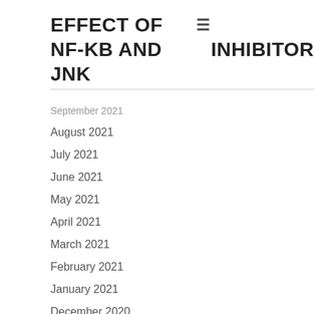EFFECT OF NF-KB AND JNK INHIBITOR
September 2021
August 2021
July 2021
June 2021
May 2021
April 2021
March 2021
February 2021
January 2021
December 2020
November 2020
October 2020
September 2020